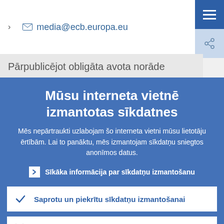> ✉ media@ecb.europa.eu
Pārpublicējot obligāta avota norāde
Mūsu interneta vietnē izmantotas sīkdatnes
Mēs nepārtraukti uzlabojam šo interneta vietni mūsu lietotāju ērtībām. Lai to panāktu, mēs izmantojam sīkdatņu sniegtos anonīmos datus.
Sīkāka informācija par sīkdatņu izmantošanu
Saprotu un piekrītu sīkdatņu izmantošanai
Nepiekrītu sīkdatņu izmantošanai